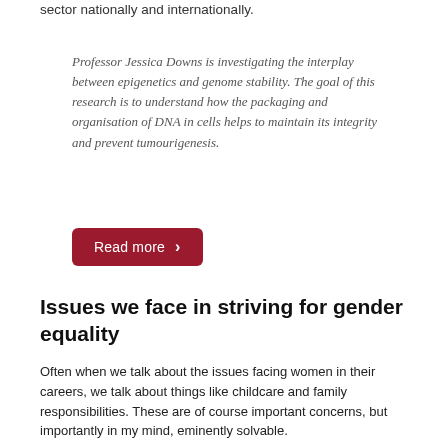sector nationally and internationally.
Professor Jessica Downs is investigating the interplay between epigenetics and genome stability. The goal of this research is to understand how the packaging and organisation of DNA in cells helps to maintain its integrity and prevent tumourigenesis.
Read more ›
Issues we face in striving for gender equality
Often when we talk about the issues facing women in their careers, we talk about things like childcare and family responsibilities. These are of course important concerns, but importantly in my mind, eminently solvable.
The ICR has been doing a lot of work to support families with young children, including doubling the number of nursery places at our Sutton site, providing costs of childcare for residential courses arranged by Learning and Organisational Development, and working with parents in Chelsea to explore how we can expand children's access to